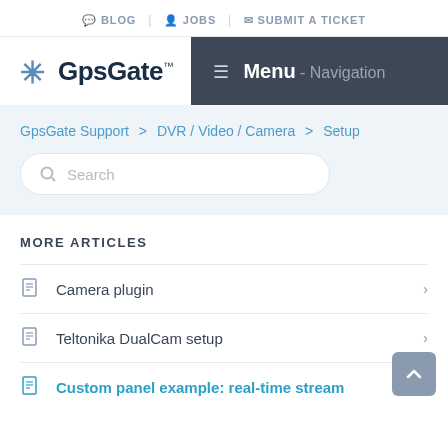BLOG | JOBS | SUBMIT A TICKET
[Figure (logo): GpsGate logo with snowflake icon and dark navy text]
Menu - Navigation
GpsGate Support > DVR / Video / Camera > Setup
Search
MORE ARTICLES
Camera plugin
Teltonika DualCam setup
Custom panel example: real-time stream